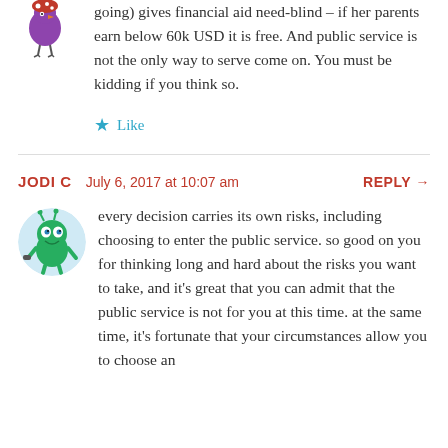going) gives financial aid need-blind – if her parents earn below 60k USD it is free. And public service is not the only way to serve come on. You must be kidding if you think so.
Like
JODI C   July 6, 2017 at 10:07 am   REPLY →
every decision carries its own risks, including choosing to enter the public service. so good on you for thinking long and hard about the risks you want to take, and it's great that you can admit that the public service is not for you at this time. at the same time, it's fortunate that your circumstances allow you to choose an